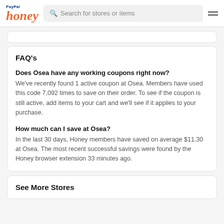PayPal honey | Search for stores or items
FAQ's
Does Osea have any working coupons right now?
We've recently found 1 active coupon at Osea. Members have used this code 7,092 times to save on their order. To see if the coupon is still active, add items to your cart and we'll see if it applies to your purchase.
How much can I save at Osea?
In the last 30 days, Honey members have saved on average $11.30 at Osea. The most recent successful savings were found by the Honey browser extension 33 minutes ago.
See More Stores